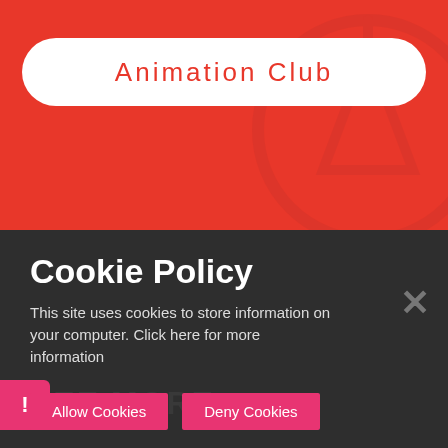[Figure (screenshot): Red header banner with rounded white pill containing 'Animation Club' text in red, with a faint compass/navigation logo watermark in the background]
Cookie Policy
This site uses cookies to store information on your computer. Click here for more information
Allow Cookies
Deny Cookies